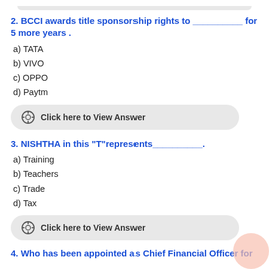2. BCCI awards title sponsorship rights to __________ for 5 more years .
a) TATA
b) VIVO
c) OPPO
d) Paytm
Click here to View Answer
3. NISHTHA in this “T”represents__________.
a) Training
b) Teachers
c) Trade
d) Tax
Click here to View Answer
4. Who has been appointed as Chief Financial Officer for